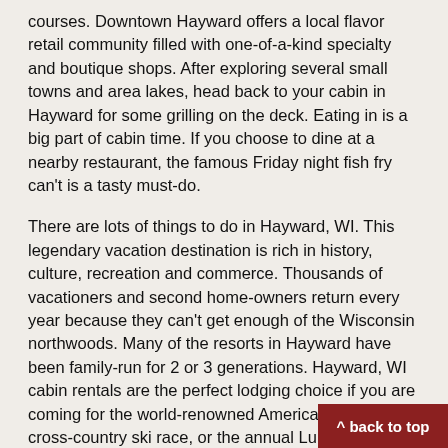courses. Downtown Hayward offers a local flavor retail community filled with one-of-a-kind specialty and boutique shops. After exploring several small towns and area lakes, head back to your cabin in Hayward for some grilling on the deck. Eating in is a big part of cabin time. If you choose to dine at a nearby restaurant, the famous Friday night fish fry can't is a tasty must-do.
There are lots of things to do in Hayward, WI. This legendary vacation destination is rich in history, culture, recreation and commerce. Thousands of vacationers and second home-owners return every year because they can't get enough of the Wisconsin northwoods. Many of the resorts in Hayward have been family-run for 2 or 3 generations. Hayward, WI cabin rentals are the perfect lodging choice if you are coming for the world-renowned American Birkebeiner cross-country ski race, or the annual Lumberjack World Championships. We recommend planning your northern Wisconsin adventure well in advance, because these Hayward resorts and cabin rentals book up fast.
Make sure you talk to rental owners about the many Hayward seasonal events and day trips. Compare cabins and Hayward vacation rentals here, then book DIRECTLY with the Booking DIRECT...